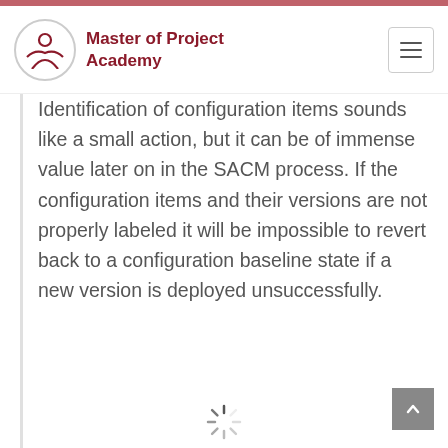Master of Project Academy
Identification of configuration items sounds like a small action, but it can be of immense value later on in the SACM process. If the configuration items and their versions are not properly labeled it will be impossible to revert back to a configuration baseline state if a new version is deployed unsuccessfully.